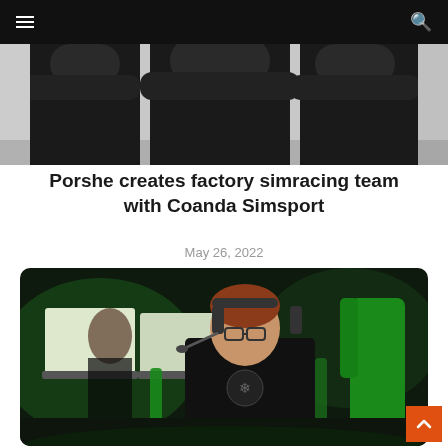Navigation bar with hamburger menu and search icon
[Figure (photo): Three people standing with arms crossed wearing black t-shirts against a light background — top portion cropped]
Porshe creates factory simracing team with Coanda Simsport
May 26, 2022
[Figure (photo): Simracing setup with a person wearing headset and glasses sitting in front of multiple monitors with green RGB lighting, other players visible in background]